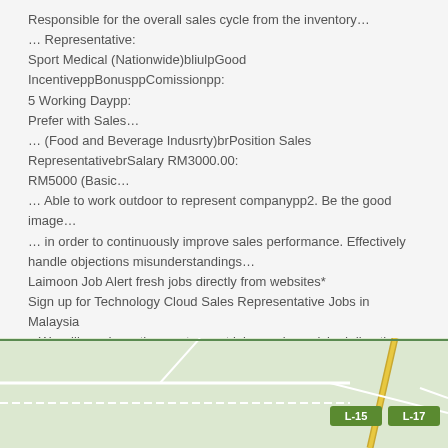Responsible for the overall sales cycle from the inventory…
… Representative:
Sport Medical (Nationwide)bliulpGood IncentiveppBonusppComissionpp:
5 Working Daypp:
Prefer with Sales…
… (Food and Beverage Indusrty)brPosition Sales RepresentativebrSalary RM3000.00:
RM5000 (Basic…
… Able to work outdoor to represent companypp2. Be the good image…
… in order to continuously improve sales performance. Effectively handle objections misunderstandings…
Laimoon Job Alert fresh jobs directly from websites*
Sign up for Technology Cloud Sales Representative Jobs in Malaysia – We will send you the most recent job openings picked directly from top job sites and company website
Buscojobs
[Figure (map): Street map showing roads with route markers L-15 and L-17 on a light green background]